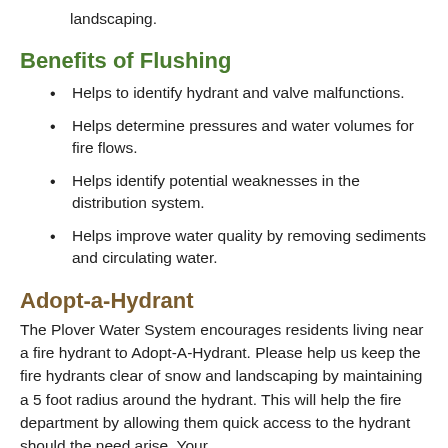landscaping.
Benefits of Flushing
Helps to identify hydrant and valve malfunctions.
Helps determine pressures and water volumes for fire flows.
Helps identify potential weaknesses in the distribution system.
Helps improve water quality by removing sediments and circulating water.
Adopt-a-Hydrant
The Plover Water System encourages residents living near a fire hydrant to Adopt-A-Hydrant. Please help us keep the fire hydrants clear of snow and landscaping by maintaining a 5 foot radius around the hydrant. This will help the fire department by allowing them quick access to the hydrant should the need arise. Your